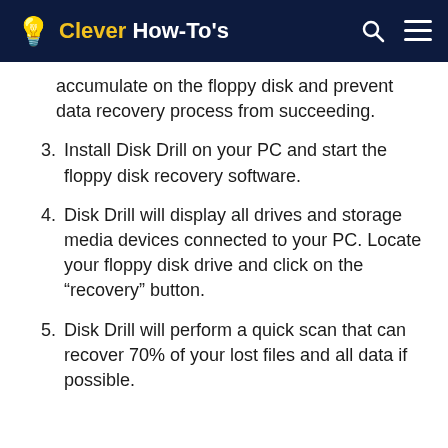Clever How-To's
accumulate on the floppy disk and prevent data recovery process from succeeding.
3. Install Disk Drill on your PC and start the floppy disk recovery software.
4. Disk Drill will display all drives and storage media devices connected to your PC. Locate your floppy disk drive and click on the “recovery” button.
5. Disk Drill will perform a quick scan that can recover 70% of your lost files and all data if possible.